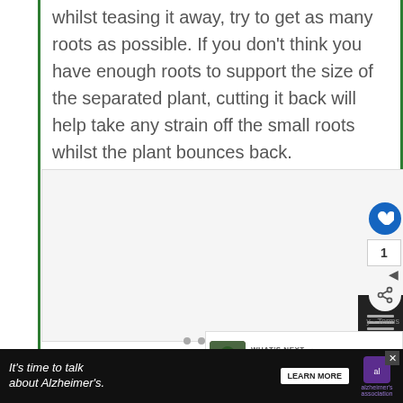whilst teasing it away, try to get as many roots as possible. If you don't think you have enough roots to support the size of the separated plant, cutting it back will help take any strain off the small roots whilst the plant bounces back.
[Figure (other): Image placeholder area, partially visible, with UI overlay elements including a heart/like button showing count of 1, a share button, and a 'What's Next' panel showing Peace Lily (Spathiphyllu...)]
WHAT'S NEXT → Peace Lily (Spathiphyllu...
[Figure (screenshot): Advertisement banner: It's time to talk about Alzheimer's. LEARN MORE. Alzheimer's Association logo. Close button visible.]